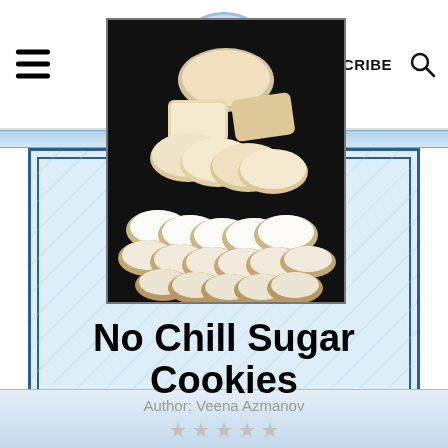Veena Azmanov - SUBSCRIBE
[Figure (photo): Photo of sugar cookies on a dark surface - various shapes including round and rectangular, some with white icing/frosting, arranged in rows]
No Chill Sugar Cookies
Author: Veena Azmanov